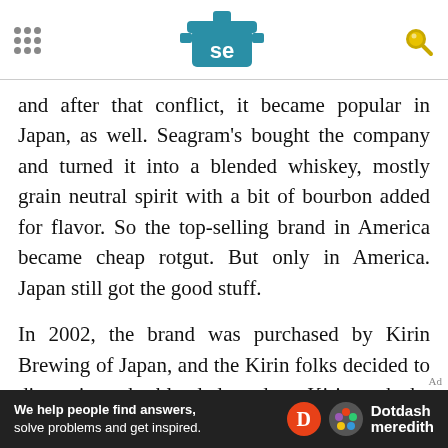Serious Eats
and after that conflict, it became popular in Japan, as well. Seagram's bought the company and turned it into a blended whiskey, mostly grain neutral spirit with a bit of bourbon added for flavor. So the top-selling brand in America became cheap rotgut. But only in America. Japan still got the good stuff.
In 2002, the brand was purchased by Kirin Brewing of Japan, and the Kirin folks decided to discontinue the blended product. Kirin took the step of purchasing back all blended bottles of Four Roses still on shelves in the United States and destroying them. Then the brand got quiet for a time in the
[Figure (logo): Dotdash Meredith advertisement bar with text: We help people find answers, solve problems and get inspired.]